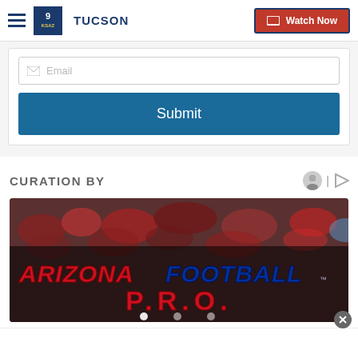KSAZ TUCSON | Watch Now
[Figure (screenshot): Email input field with submit button inside a white card]
CURATION BY
[Figure (photo): Arizona Football PRO banner with crowd in background, carousel dots visible]